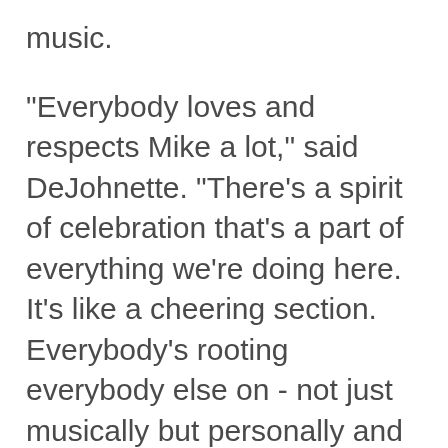music.
"Everybody loves and respects Mike a lot," said DeJohnette. "There's a spirit of celebration that's a part of everything we're doing here. It's like a cheering section. Everybody's rooting everybody else on - not just musically but personally and spiritually."
"Michael has gone up yet another notch with his writing and playing," said Hancock, who has recorded and performed with Brecker since the '80s and appeared on one of Brecker's biggest selling albums, Nearness of You (2001). "There's always good news that comes with bad news, and that's the good news - in spite of his condition, or maybe even